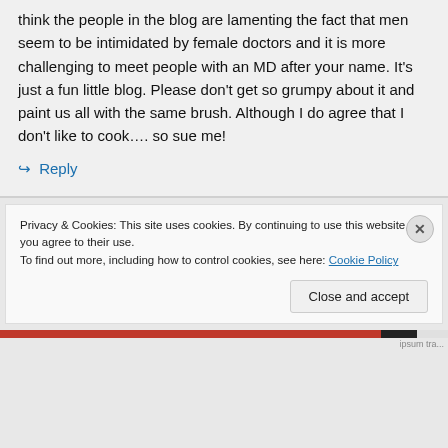think the people in the blog are lamenting the fact that men seem to be intimidated by female doctors and it is more challenging to meet people with an MD after your name. It’s just a fun little blog. Please don’t get so grumpy about it and paint us all with the same brush. Although I do agree that I don’t like to cook…. so sue me!
↪ Reply
Privacy & Cookies: This site uses cookies. By continuing to use this website, you agree to their use.
To find out more, including how to control cookies, see here: Cookie Policy
Close and accept